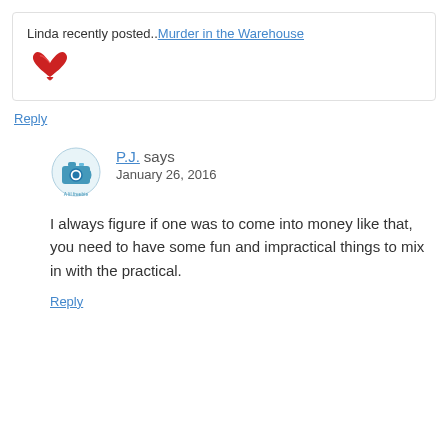Linda recently posted..Murder in the Warehouse
[Figure (illustration): Red wing/bird decorative icon]
Reply
P.J. says
[Figure (illustration): Blue camera/snail avatar icon for P.J.]
January 26, 2016
I always figure if one was to come into money like that, you need to have some fun and impractical things to mix in with the practical.
Reply